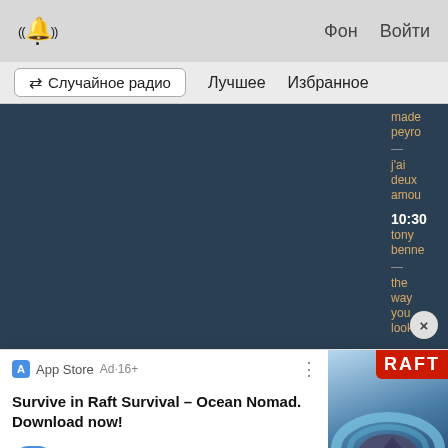((🔔)) Фон Войти
✕ Случайное радио   Лучшее   Избранное
[Figure (screenshot): Music player interface with dark blue player area and sidebar showing French song text: made, peyro, j'ai deux amou, 10:30, tony benne, —, the way you look. Close button (×) visible.]
App Store Ad·16+
Survive in Raft Survival – Ocean Nomad. Download now!
★★★★★ Free
[Figure (illustration): Raft Survival app icon — red banner with RAFT text, shark image below on blue ocean background]